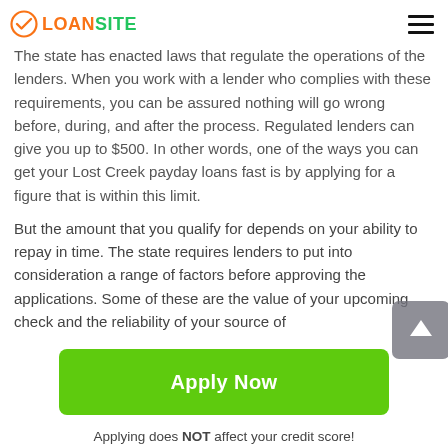LOANSITE
The state has enacted laws that regulate the operations of the lenders. When you work with a lender who complies with these requirements, you can be assured nothing will go wrong before, during, and after the process. Regulated lenders can give you up to $500. In other words, one of the ways you can get your Lost Creek payday loans fast is by applying for a figure that is within this limit.
But the amount that you qualify for depends on your ability to repay in time. The state requires lenders to put into consideration a range of factors before approving the applications. Some of these are the value of your upcoming check and the reliability of your source of
Apply Now
Applying does NOT affect your credit score!
No credit check to apply.